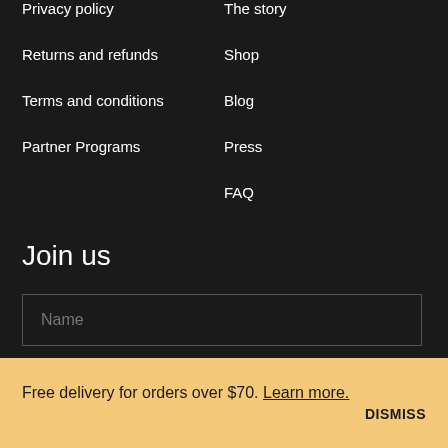Privacy policy
The story
Returns and refunds
Shop
Terms and conditions
Blog
Partner Programs
Press
FAQ
Join us
Name
Free delivery for orders over $70. Learn more.
DISMISS